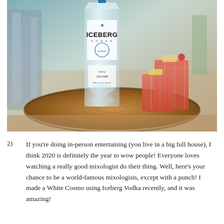[Figure (photo): Photo of an Iceberg Vodka bottle on a wooden log slice, with two glasses of pink/orange cocktail garnished with lemon, bar tools in background.]
2)  If you're doing in-person entertaining (you live in a big full house), I think 2020 is definitely the year to wow people! Everyone loves watching a really good mixologist do their thing. Well, here's your chance to be a world-famous mixologists, except with a punch! I made a White Cosmo using Iceberg Vodka recently, and it was amazing!